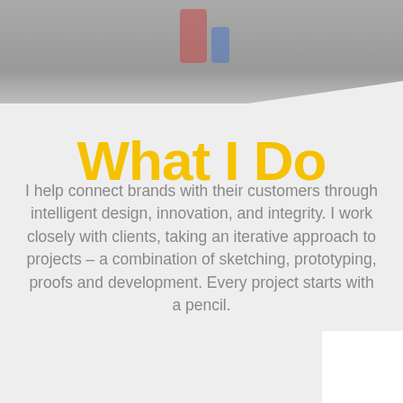[Figure (photo): Grayscale/muted photo of people sitting, partially visible at top of page, with a diagonal white slash dividing it from the content below]
What I Do
I help connect brands with their customers through intelligent design, innovation, and integrity. I work closely with clients, taking an iterative approach to projects – a combination of sketching, prototyping, proofs and development. Every project starts with a pencil.